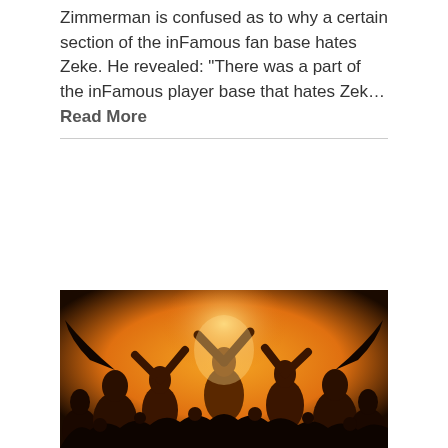Zimmerman is confused as to why a certain section of the inFamous fan base hates Zeke. He revealed: "There was a part of the inFamous player base that hates Zek... Read More
[Figure (illustration): A group illustration with many characters in heroic poses against an orange and dark background, resembling a video game or comic book ensemble artwork.]